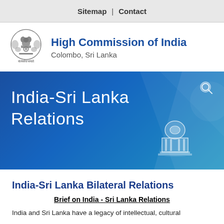Sitemap | Contact
[Figure (logo): Emblem of India (Ashoka Chakra) with text 'सत्यमेव जयते' below]
High Commission of India
Colombo, Sri Lanka
[Figure (screenshot): Blue banner with text 'India-Sri Lanka Relations', building icon, and search icon]
India-Sri Lanka Bilateral Relations
Brief on India - Sri Lanka Relations
India and Sri Lanka have a legacy of intellectual, cultural